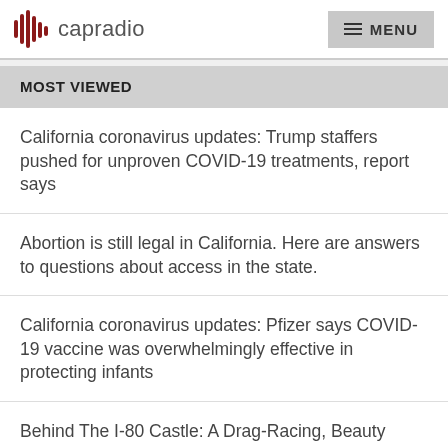capradio  MENU
MOST VIEWED
California coronavirus updates: Trump staffers pushed for unproven COVID-19 treatments, report says
Abortion is still legal in California. Here are answers to questions about access in the state.
California coronavirus updates: Pfizer says COVID-19 vaccine was overwhelmingly effective in protecting infants
Behind The I-80 Castle: A Drag-Racing, Beauty School Mecca's Dream Home